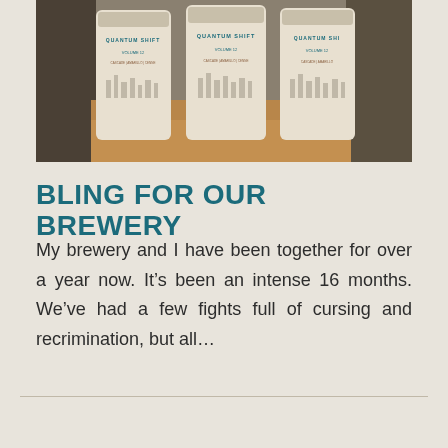[Figure (photo): Photograph of Quantum Shift beer cans (Volume 12) in a cardboard box, showing city skyline label design]
BLING FOR OUR BREWERY
My brewery and I have been together for over a year now. It's been an intense 16 months. We've had a few fights full of cursing and recrimination, but all...